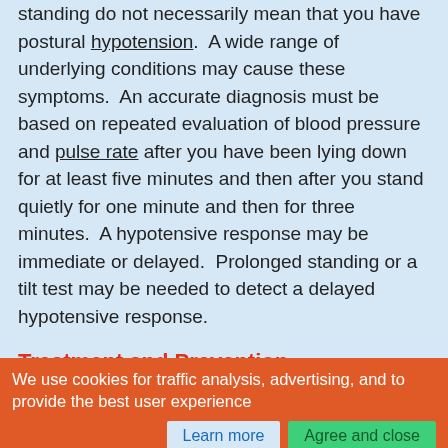standing do not necessarily mean that you have postural hypotension. A wide range of underlying conditions may cause these symptoms. An accurate diagnosis must be based on repeated evaluation of blood pressure and pulse rate after you have been lying down for at least five minutes and then after you stand quietly for one minute and then for three minutes. A hypotensive response may be immediate or delayed. Prolonged standing or a tilt test may be needed to detect a delayed hypotensive response.
Treatment and Prevention
If you have an underlying medical problem that causes postural hypotension, seek treatment for the underlying condition. The ...
We use cookies for traffic analysis, advertising, and to provide the best user experience